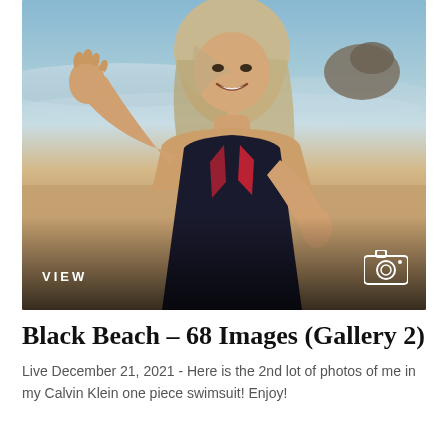[Figure (photo): A woman in a black Calvin Klein one-piece swimsuit on a sandy beach with ocean waves in the background. She is smiling, waving her hand, and leaning forward toward the camera. The photo has a dark gradient overlay at the bottom with a VIEW label and a camera icon.]
Black Beach – 68 Images (Gallery 2)
Live December 21, 2021 - Here is the 2nd lot of photos of me in my Calvin Klein one piece swimsuit! Enjoy!